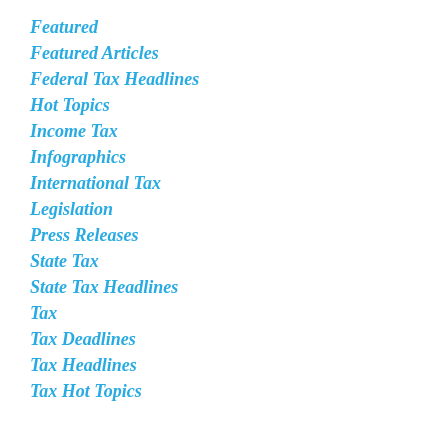Featured
Featured Articles
Federal Tax Headlines
Hot Topics
Income Tax
Infographics
International Tax
Legislation
Press Releases
State Tax
State Tax Headlines
Tax
Tax Deadlines
Tax Headlines
Tax Hot Topics